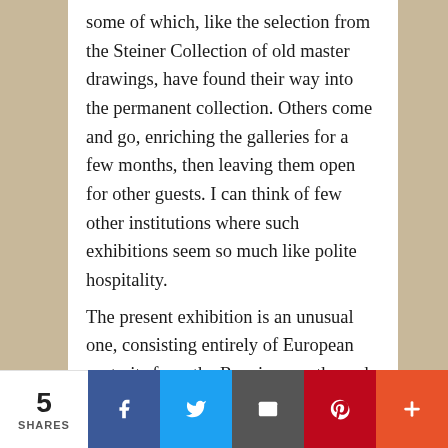some of which, like the selection from the Steiner Collection of old master drawings, have found their way into the permanent collection. Others come and go, enriching the galleries for a few months, then leaving them open for other guests. I can think of few other institutions where such exhibitions seem so much like polite hospitality.

The present exhibition is an unusual one, consisting entirely of European portraits from the Renaissance through the earlier nineteenth century. These make up the major part, but not the entirety, of a collection which includes still life and portraiture, as well as remarkable bronzes and marbles. Portraiture, ranked second only to history painting in the academic
5 SHARES | Facebook | Twitter | Email | Pinterest | More